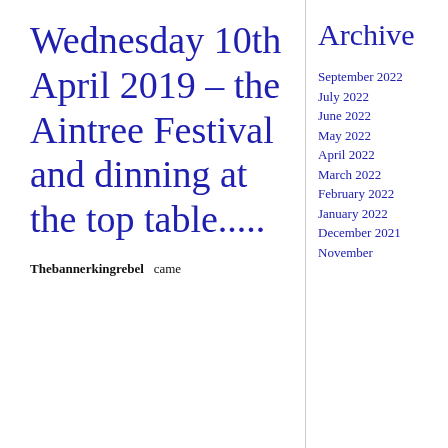Wednesday 10th April 2019 – the Aintree Festival and dinning at the top table.....
Thebannerkingrebel came
Archive
September 2022
July 2022
June 2022
May 2022
April 2022
March 2022
February 2022
January 2022
December 2021
November